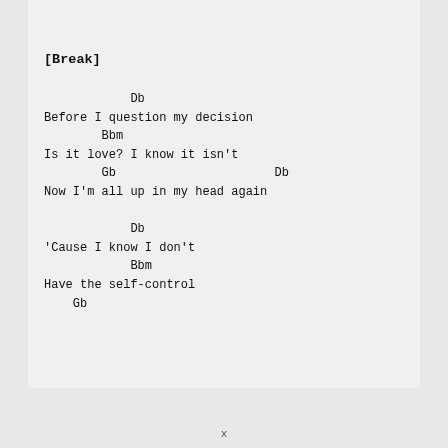[Break]
Db
Before I question my decision
        Bbm
Is it love? I know it isn't
        Gb                      Db
Now I'm all up in my head again

            Db
'Cause I know I don't
            Bbm
Have the self-control
    Gb
x